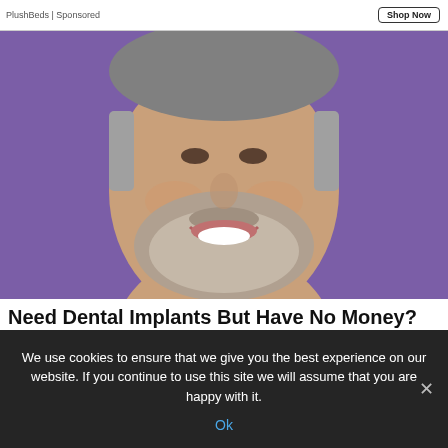PlushBeds | Sponsored   Shop Now
[Figure (photo): Close-up photo of a middle-aged man with a gray beard smiling, showing white teeth, wearing a light pink shirt, against a purple background.]
Need Dental Implants But Have No Money?
We use cookies to ensure that we give you the best experience on our website. If you continue to use this site we will assume that you are happy with it.
Ok